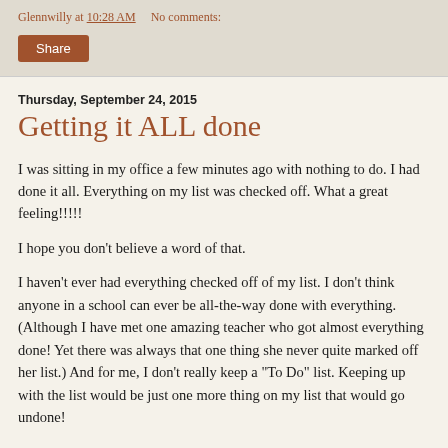Glennwilly at 10:28 AM   No comments:
Share
Thursday, September 24, 2015
Getting it ALL done
I was sitting in my office a few minutes ago with nothing to do.  I had done it all.  Everything on my list was checked off.  What a great feeling!!!!!
I hope you don't believe a word of that.
I haven't ever had everything checked off of my list.  I don't think anyone in a school can ever be all-the-way done with everything.  (Although I have met one amazing teacher who got almost everything done!  Yet there was always that one thing she never quite marked off her list.) And for me, I don't really keep a "To Do" list.  Keeping up with the list would be just one more thing on my list that would go undone!